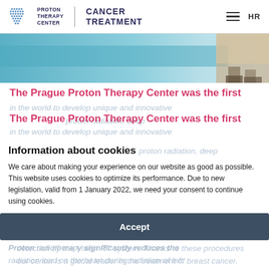Proton Therapy Center | Cancer Treatment | HR
[Figure (screenshot): Hero banner image with teal/blue gradient background and partial view of a person's legs]
The Prague Proton Therapy Center was the first
Information about cookies
We care about making your experience on our website as good as possible. This website uses cookies to optimize its performance. Due to new legislation, valid from 1 January 2022, we need your consent to continue using cookies.
Accept
Settings
in the world to develop unique and innovative
proton radiation, deep
detection by the Vision RT system. Thanks to these procedures, our center is a global leader in the treatment of breast cancer.
Proton radiotherapy significantly reduces the radiation load on the heart during radiation of left breast cancer. PTC can present excellent results